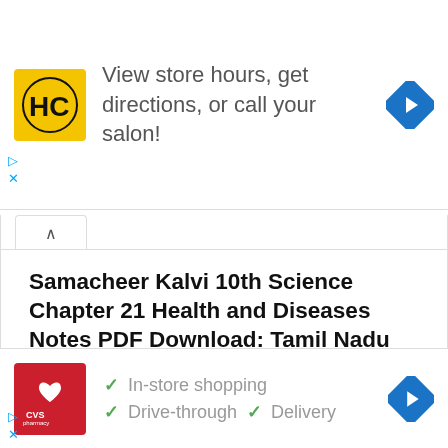[Figure (screenshot): Top advertisement banner: HairClub logo (HC in black on yellow background), text 'View store hours, get directions, or call your salon!', blue diamond navigation arrow icon on right]
Samacheer Kalvi 10th Science Chapter 21 Health and Diseases Notes PDF Download: Tamil Nadu STD 10th Science Chapter 21 Health and Diseases Notes
December 01, 2021  Samacheer Kalvi 10th Science  No comments
[Figure (screenshot): Bottom advertisement banner: CVS Pharmacy red logo, checkmarks next to 'In-store shopping', 'Drive-through', 'Delivery', blue diamond navigation arrow icon on right]